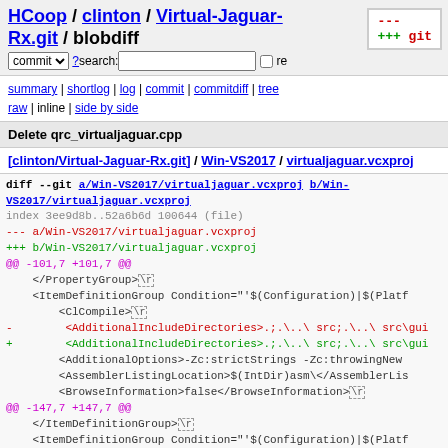HCoop / clinton / Virtual-Jaguar-Rx.git / blobdiff
commit ? search: re
summary | shortlog | log | commit | commitdiff | tree raw | inline | side by side
Delete qrc_virtualjaguar.cpp
[clinton/Virtual-Jaguar-Rx.git] / Win-VS2017 / virtualjaguar.vcxproj
diff --git a/Win-VS2017/virtualjaguar.vcxproj b/Win-VS2017/virtualjaguar.vcxproj
index 3ee9d8b..52a6b6d 100644 (file)
--- a/Win-VS2017/virtualjaguar.vcxproj
+++ b/Win-VS2017/virtualjaguar.vcxproj
@@ -101,7 +101,7 @@
     </PropertyGroup>\r
     <ItemDefinitionGroup Condition="'$(Configuration)|$(Platf
         <ClCompile>\r
-            <AdditionalIncludeDirectories>.;.\..\src;.\..\src\gui
+            <AdditionalIncludeDirectories>.;.\..\src;.\..\src\gui
             <AdditionalOptions>-Zc:strictStrings -Zc:throwingNew
             <AssemblerListingLocation>$(IntDir)asm\</AssemblerLis
             <BrowseInformation>false</BrowseInformation>\r
@@ -147,7 +147,7 @@
     </ItemDefinitionGroup>\r
     <ItemDefinitionGroup Condition="'$(Configuration)|$(Platf